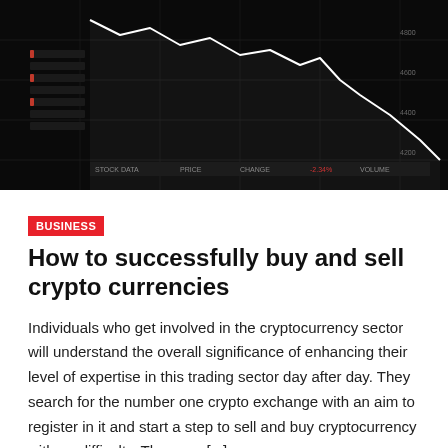[Figure (photo): Dark trading screen showing financial charts and data with a downward trending line chart, black background with glowing white lines and red/green data panels]
BUSINESS
How to successfully buy and sell crypto currencies
Individuals who get involved in the cryptocurrency sector will understand the overall significance of enhancing their level of expertise in this trading sector day after day. They search for the number one crypto exchange with an aim to register in it and start a step to sell and buy cryptocurrency with no difficulty. They can [...]
GAMBLING
On The Internet Equine Betting Sites Finest